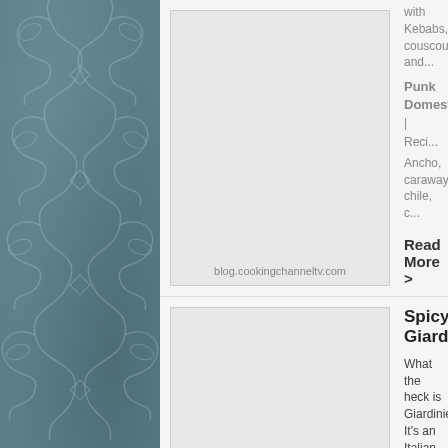[Figure (illustration): Decorative teal/slate blue sidebar with scrollwork floral flourish pattern]
blog.cookingchanneltv.com | with Kebabs, couscous and... Punk Domestics | Reci... Ancho, caraway, chile, c... Read More >
Spicy Giardiniera. What the heck is Giardiniera? It's an Italian antipasto made of pickled ve... make it! shutterbean | Recipes, fridge pickle, Giardiniera... Read More >
Spiced Fresh Peach Ch... Quick, before the last fresh p... this Spiced Fresh Peach Ch... few ingredients. Freezes we... (save for your most deservin... Shockinglydelicious | R... Jams, jellies and preserv...